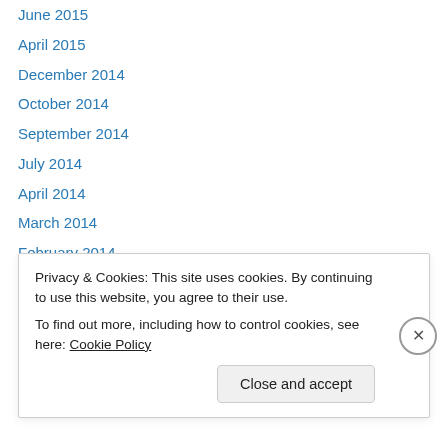June 2015
April 2015
December 2014
October 2014
September 2014
July 2014
April 2014
March 2014
February 2014
December 2013
November 2013
October 2013
September 2013
Privacy & Cookies: This site uses cookies. By continuing to use this website, you agree to their use. To find out more, including how to control cookies, see here: Cookie Policy
Close and accept